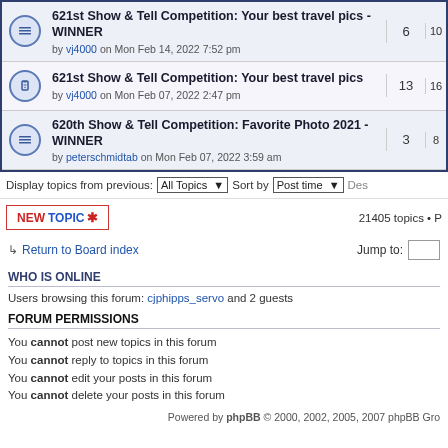|  | Topic | Replies | Views |
| --- | --- | --- | --- |
| [icon] | 621st Show & Tell Competition: Your best travel pics - WINNER
by vj4000 on Mon Feb 14, 2022 7:52 pm | 6 | 10... |
| [icon] | 621st Show & Tell Competition: Your best travel pics
by vj4000 on Mon Feb 07, 2022 2:47 pm | 13 | 16... |
| [icon] | 620th Show & Tell Competition: Favorite Photo 2021 - WINNER
by peterschmidtab on Mon Feb 07, 2022 3:59 am | 3 | 8... |
Display topics from previous: All Topics ▾  Sort by  Post time ▾  Des...
NEWTOPIC ✱   21405 topics • P...
↩ Return to Board index   Jump to:
WHO IS ONLINE
Users browsing this forum: cjphipps_servo and 2 guests
FORUM PERMISSIONS
You cannot post new topics in this forum
You cannot reply to topics in this forum
You cannot edit your posts in this forum
You cannot delete your posts in this forum
Powered by phpBB © 2000, 2002, 2005, 2007 phpBB Gro...